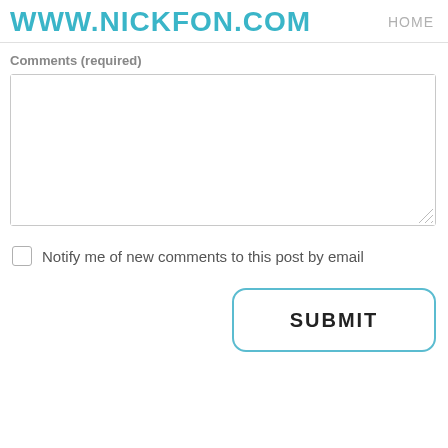WWW.NICKFON.COM   HOME
Comments (required)
[Figure (screenshot): Empty comments text area input box]
Notify me of new comments to this post by email
[Figure (screenshot): SUBMIT button with rounded border in teal/blue color]